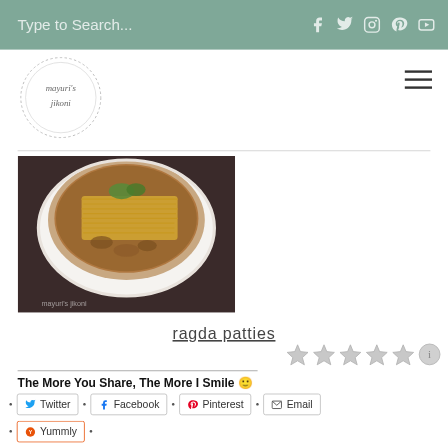Type to Search...
[Figure (logo): Mayuri's Jikoni circular logo with decorative border]
[Figure (photo): Bowl of ragda patties topped with sev and garnished with coriander, served in a white bowl on a dark surface. Watermark reads mayuri's jikoni.]
ragda patties
[Figure (other): 5 empty star rating icons followed by an info circle icon]
The More You Share, The More I Smile 🙂
Twitter
Facebook
Pinterest
Email
Yummly